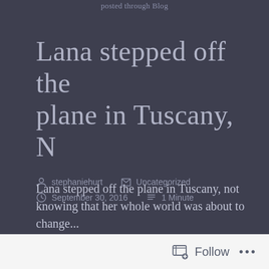posted through Blog
Lana stepped off the plane in Tuscany, N
stephaniehurt   Uncategorized   September 30, 2016   1 Minute
Lana stepped off the plane in Tuscany, not knowing that her whole world was about to change... http://ow.ly/hOoH3o4HTJP
Follow ...